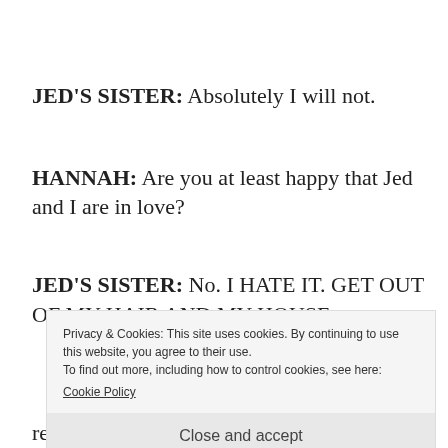JED'S SISTER: Absolutely I will not.
HANNAH: Are you at least happy that Jed and I are in love?
JED'S SISTER: No. I HATE IT. GET OUT OF MY HAIR AND MY HOUSE.
Privacy & Cookies: This site uses cookies. By continuing to use this website, you agree to their use. To find out more, including how to control cookies, see here: Cookie Policy
Close and accept
ready for marriage. Will he choose music or